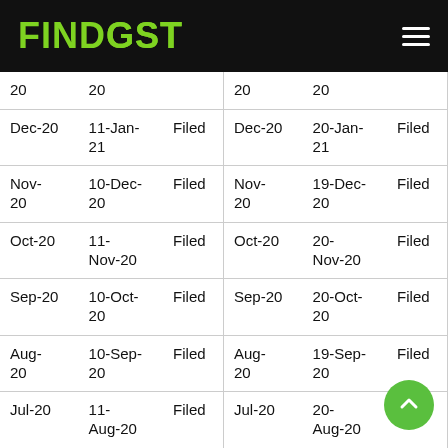FINDGST
| Period | Date | Status |
| --- | --- | --- |
| 20 | 20 |  |
| Dec-20 | 11-Jan-21 | Filed |
| Nov-20 | 10-Dec-20 | Filed |
| Oct-20 | 11-Nov-20 | Filed |
| Sep-20 | 10-Oct-20 | Filed |
| Aug-20 | 10-Sep-20 | Filed |
| Jul-20 | 11-Aug-20 | Filed |
| Period | Date | Status |
| --- | --- | --- |
| 20 | 20 |  |
| Dec-20 | 20-Jan-21 | Filed |
| Nov-20 | 19-Dec-20 | Filed |
| Oct-20 | 20-Nov-20 | Filed |
| Sep-20 | 20-Oct-20 | Filed |
| Aug-20 | 19-Sep-20 | Filed |
| Jul-20 | 20-Aug-20 | Filed |